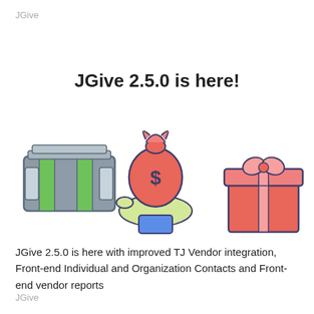JGive
JGive 2.5.0 is here!
[Figure (illustration): Three icons: a stack of dollar bills with green highlights, a hand holding a money bag with a dollar sign, and a red gift box with a ribbon and bow.]
JGive 2.5.0 is here with improved TJ Vendor integration, Front-end Individual and Organization Contacts and Front-end vendor reports
JGive